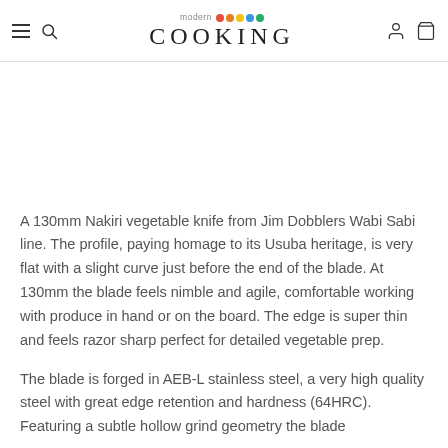modern COOKING
A 130mm Nakiri vegetable knife from Jim Dobblers Wabi Sabi line. The profile, paying homage to its Usuba heritage, is very flat with a slight curve just before the end of the blade. At 130mm the blade feels nimble and agile, comfortable working with produce in hand or on the board. The edge is super thin and feels razor sharp perfect for detailed vegetable prep.
The blade is forged in AEB-L stainless steel, a very high quality steel with great edge retention and hardness (64HRC). Featuring a subtle hollow grind geometry the blade